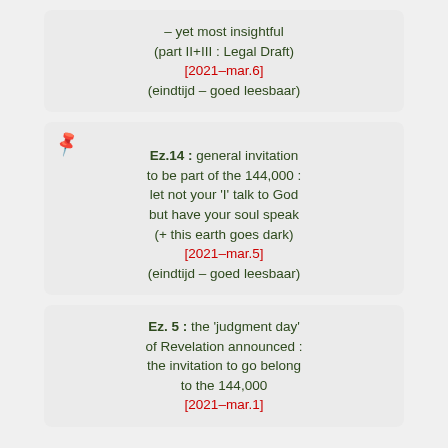– yet most insightful (part II+III : Legal Draft) [2021-mar.6] (eindtijd – goed leesbaar)
Ez.14 : general invitation to be part of the 144,000 : let not your 'I' talk to God but have your soul speak (+ this earth goes dark) [2021-mar.5] (eindtijd – goed leesbaar)
Ez. 5 : the 'judgment day' of Revelation announced : the invitation to go belong to the 144,000 [2021-mar.1]